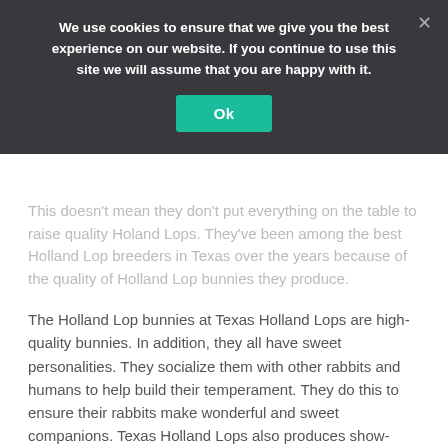We use cookies to ensure that we give you the best experience on our website. If you continue to use this site we will assume that you are happy with it.
This doesn't mean they don't put everything on the table to raise quality Holand Lops. They've been among the best Holland Lop breeders in Texas over the years because of the quality of Holland Lop bunnies they produce.
The Holland Lop bunnies at Texas Holland Lops are high-quality bunnies. In addition, they all have sweet personalities. They socialize them with other rabbits and humans to help build their temperament. They do this to ensure their rabbits make wonderful and sweet companions. Texas Holland Lops also produces show-quality Holland Lop bunnies.